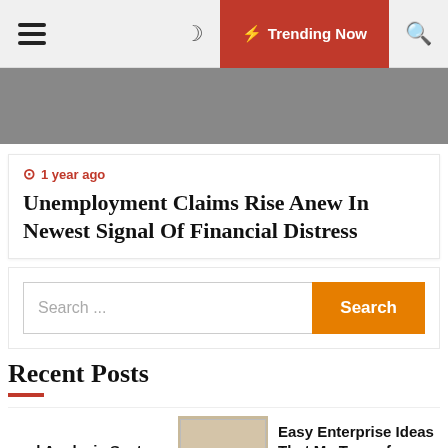Trending Now
[Figure (photo): Gray hero banner image area]
1 year ago
Unemployment Claims Rise Anew In Newest Signal Of Financial Distress
Search ...
Recent Posts
rend Analysis System
[Figure (photo): Thumbnail image showing a FREE COFFEE sign/paper]
Easy Enterprise Ideas That Ma Tens of millions